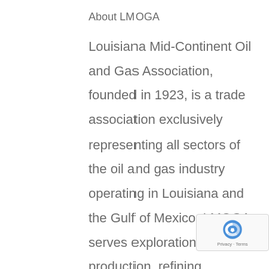About LMOGA
Louisiana Mid-Continent Oil and Gas Association, founded in 1923, is a trade association exclusively representing all sectors of the oil and gas industry operating in Louisiana and the Gulf of Mexico. LMOGA serves exploration and production, refining, transportation, marketing and mid stream companies as well as other firms in the fields of law, engineering, environment, financing and government relations.